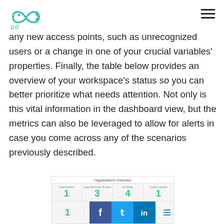[logo: pd brand mark] [hamburger menu icon]
any new access points, such as unrecognized users or a change in one of your crucial variables' properties. Finally, the table below provides an overview of your workspace's status so you can better prioritize what needs attention. Not only is this vital information in the dashboard view, but the metrics can also be leveraged to allow for alerts in case you come across any of the scenarios previously described.
[Figure (screenshot): Organizations Overview dashboard screenshot showing metrics: 1 (Organizations), 3 (Approved in last 30 days), 4 (w/ Validity), 1 (Lookup variable), and row 2 with: 1, and social sharing icons for Facebook, Twitter, LinkedIn, and a menu icon.]